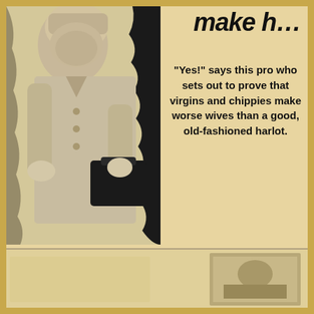make h…
[Figure (photo): Black and white photograph of a woman in a light-colored coat holding a dark handbag, her face obscured, set against a torn paper background effect]
"Yes!" says this pro who sets out to prove that virgins and chippies make worse wives than a good, old-fashioned harlot.
[Figure (photo): Small black and white photograph at the bottom of the page, partially visible]